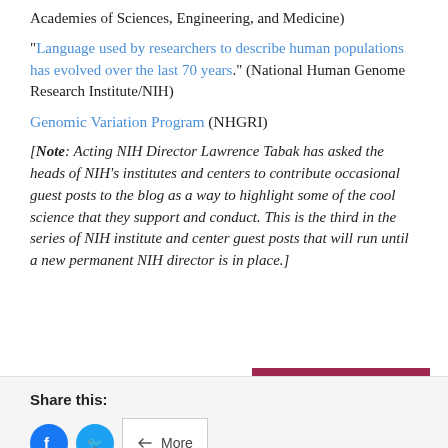Academies of Sciences, Engineering, and Medicine)
"Language used by researchers to describe human populations has evolved over the last 70 years." (National Human Genome Research Institute/NIH)
Genomic Variation Program (NHGRI)
[Note: Acting NIH Director Lawrence Tabak has asked the heads of NIH's institutes and centers to contribute occasional guest posts to the blog as a way to highlight some of the cool science that they support and conduct. This is the third in the series of NIH institute and center guest posts that will run until a new permanent NIH director is in place.]
5 Comments
Share this:
More